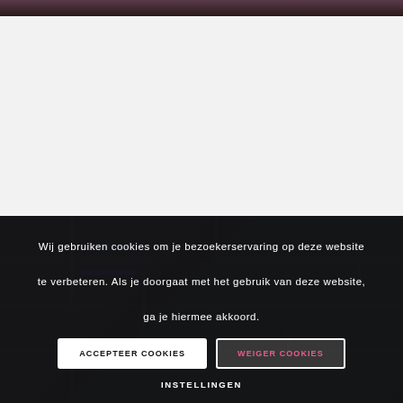[Figure (photo): Partial top edge of a dark photograph, appears to show a dimly lit scene]
[Figure (photo): Dark background image of what appears to be an industrial or library interior with shelving and equipment]
Wij gebruiken cookies om je bezoekerservaring op deze website te verbeteren. Als je doorgaat met het gebruik van deze website, ga je hiermee akkoord.
ACCEPTEER COOKIES
WEIGER COOKIES
INSTELLINGEN